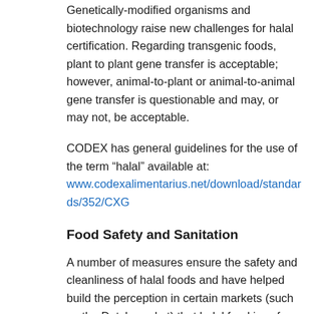Genetically-modified organisms and biotechnology raise new challenges for halal certification. Regarding transgenic foods, plant to plant gene transfer is acceptable; however, animal-to-plant or animal-to-animal gene transfer is questionable and may, or may not, be acceptable.
CODEX has general guidelines for the use of the term “halal” available at: www.codexalimentarius.net/download/standards/352/CXG
Food Safety and Sanitation
A number of measures ensure the safety and cleanliness of halal foods and have helped build the perception in certain markets (such as the Dutch market) that halal food is safer. Halal food preparation includes safety controls such as HACCP food safety systems. Furthermore, allergen and chemical control